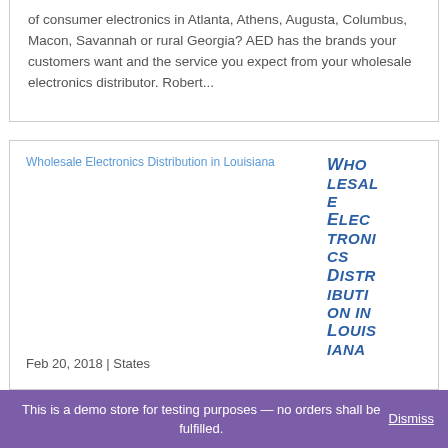of consumer electronics in Atlanta, Athens, Augusta, Columbus, Macon, Savannah or rural Georgia? AED has the brands your customers want and the service you expect from your wholesale electronics distributor. Robert...
[Figure (other): Image placeholder link text reading 'Wholesale Electronics Distribution in Louisiana' in blue link style, with large italic bold blue vertical title 'Wholesale Electronics Distribution in Louisiana' on the right side]
Feb 20, 2018 | States
This is a demo store for testing purposes — no orders shall be fulfilled. Dismiss